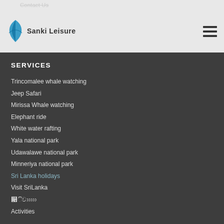Contact Us
[Figure (logo): Sanki Leisure logo with blue leaf icon and text]
SERVICES
Trincomalee whale watching
Jeep Safari
Mirissa Whale watching
Elephant ride
White water rafting
Yala national park
Udawalawe national park
Minneriya national park
Sri Lanka holidays
Visit SriLanka
ශ්‍රී ලංකා
Activities
Most Popular Tours
4 Days Short Tour
Best Of Sri Lanka